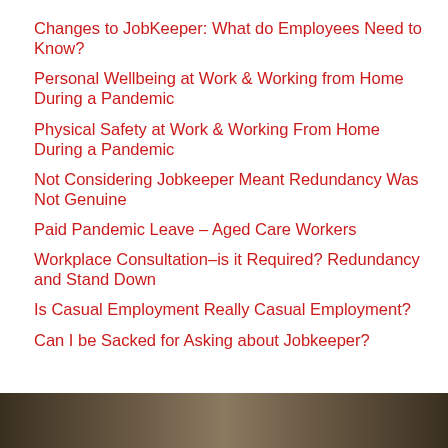Changes to JobKeeper: What do Employees Need to Know?
Personal Wellbeing at Work & Working from Home During a Pandemic
Physical Safety at Work & Working From Home During a Pandemic
Not Considering Jobkeeper Meant Redundancy Was Not Genuine
Paid Pandemic Leave – Aged Care Workers
Workplace Consultation–is it Required? Redundancy and Stand Down
Is Casual Employment Really Casual Employment?
Can I be Sacked for Asking about Jobkeeper?
[Figure (photo): Partial photo strip at bottom of page showing people in a workplace or meeting setting]